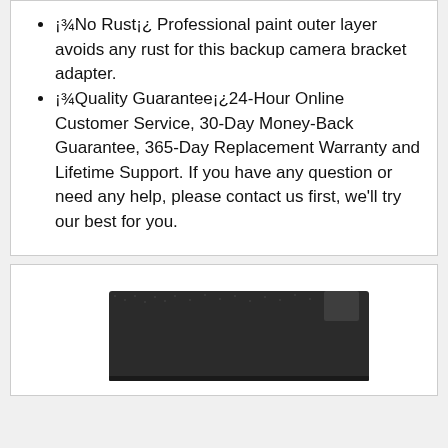¡¾No Rust¡¿ Professional paint outer layer avoids any rust for this backup camera bracket adapter.
¡¾Quality Guarantee¡¿24-Hour Online Customer Service, 30-Day Money-Back Guarantee, 365-Day Replacement Warranty and Lifetime Support. If you have any question or need any help, please contact us first, we'll try our best for you.
[Figure (photo): Bottom portion of a dark/black product (backup camera bracket adapter) shown from above, partially cropped at the bottom of the page.]